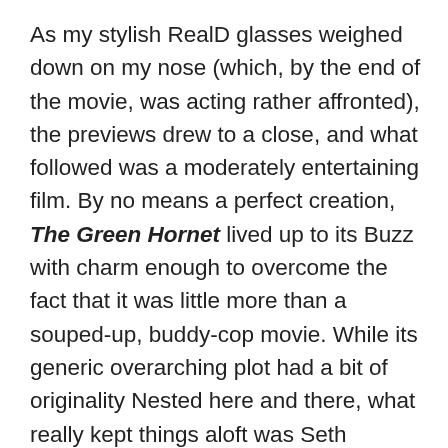As my stylish RealD glasses weighed down on my nose (which, by the end of the movie, was acting rather affronted), the previews drew to a close, and what followed was a moderately entertaining film. By no means a perfect creation, The Green Hornet lived up to its Buzz with charm enough to overcome the fact that it was little more than a souped-up, buddy-cop movie. While its generic overarching plot had a bit of originality Nested here and there, what really kept things aloft was Seth Rogen's light-hearted tone and performance. Britt Reid (Seth Rogen) and Kato (Jay Chou) were fun characters to watch and had pretty good chemistry. I believed their friendship, their obligatory fallout, and their eventual reconciliation, and I laughed out loud at lines like “Do some of that Ben Hur shit!” Sadly, I was the only one who laughed during the entire screening. More than ever, big screen performances...